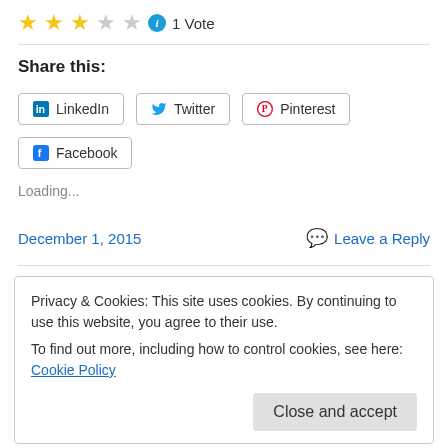[Figure (other): Star rating: 3 filled stars, 2 empty stars, info icon, text '1 Vote']
Share this:
[Figure (other): Social share buttons: LinkedIn, Twitter, Pinterest, Facebook]
Loading...
December 1, 2015
Leave a Reply
Privacy & Cookies: This site uses cookies. By continuing to use this website, you agree to their use.
To find out more, including how to control cookies, see here: Cookie Policy
Close and accept
Sitting in a quiet corner of Paris Cafe in the heart of